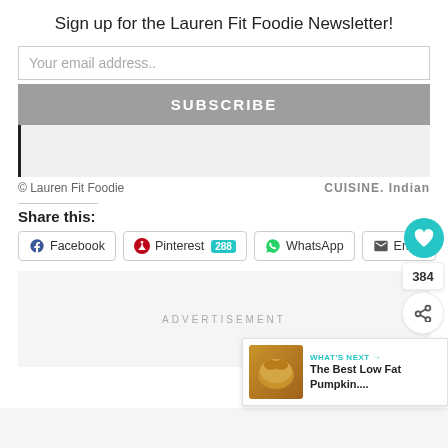Sign up for the Lauren Fit Foodie Newsletter!
Your email address..
SUBSCRIBE
© Lauren Fit Foodie
CUISINE. Indian
Share this:
Facebook
Pinterest 288
WhatsApp
Email
ADVERTISEMENT
384
WHAT'S NEXT → The Best Low Fat Pumpkin....